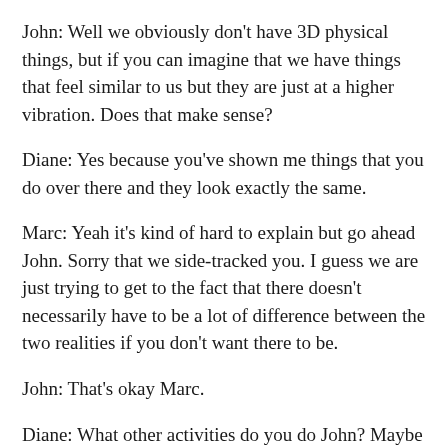John: Well we obviously don't have 3D physical things, but if you can imagine that we have things that feel similar to us but they are just at a higher vibration. Does that make sense?
Diane: Yes because you've shown me things that you do over there and they look exactly the same.
Marc: Yeah it's kind of hard to explain but go ahead John. Sorry that we side-tracked you. I guess we are just trying to get to the fact that there doesn't necessarily have to be a lot of difference between the two realities if you don't want there to be.
John: That's okay Marc.
Diane: What other activities do you do John? Maybe people just think that spirits float around all day and don't have any interests?